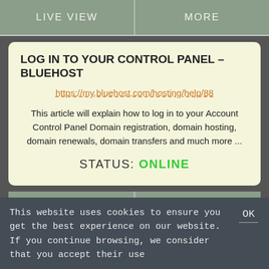[Figure (screenshot): Top navigation bar with LIVE VIEW and MORE buttons on a green-gray background]
LOG IN TO YOUR CONTROL PANEL – BLUEHOST
https://my.bluehost.com/hosting/help/88
This article will explain how to log in to your Account Control Panel Domain registration, domain hosting, domain renewals, domain transfers and much more ...
STATUS: ONLINE
[Figure (screenshot): Bottom navigation bar with LIVE VIEW and MORE buttons on a green-gray background]
This website uses cookies to ensure you get the best experience on our website. If you continue browsing, we consider that you accept their use
OK